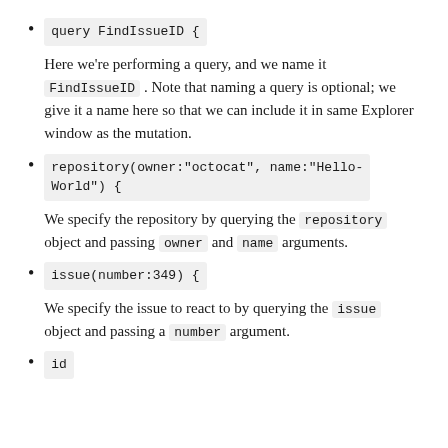query FindIssueID {
Here we're performing a query, and we name it FindIssueID . Note that naming a query is optional; we give it a name here so that we can include it in same Explorer window as the mutation.
repository(owner:"octocat", name:"Hello-World") {
We specify the repository by querying the repository object and passing owner and name arguments.
issue(number:349) {
We specify the issue to react to by querying the issue object and passing a number argument.
id